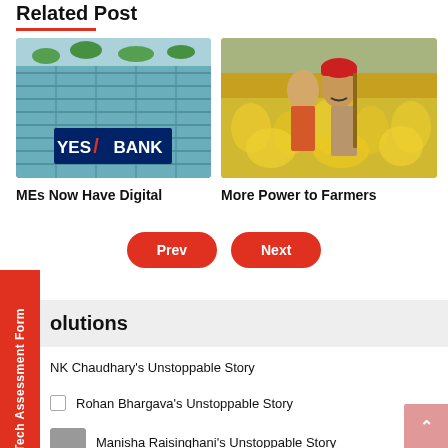Related Post
[Figure (photo): YES BANK building exterior with blue glass facade and YES BANK logo]
[Figure (photo): Indian farmer couple standing in a yellow mustard field]
MEs Now Have Digital
More Power to Farmers
Prev
Next
olutions
NK Chaudhary's Unstoppable Story
Rohan Bhargava's Unstoppable Story
Manisha Raisinghani's Unstoppable Story
Tech Assessment Form